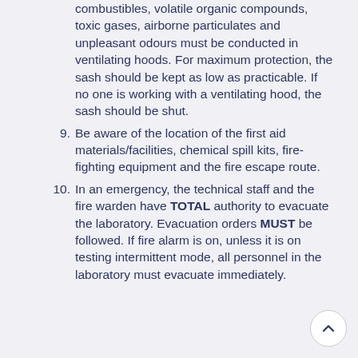combustibles, volatile organic compounds, toxic gases, airborne particulates and unpleasant odours must be conducted in ventilating hoods. For maximum protection, the sash should be kept as low as practicable. If no one is working with a ventilating hood, the sash should be shut.
9. Be aware of the location of the first aid materials/facilities, chemical spill kits, fire-fighting equipment and the fire escape route.
10. In an emergency, the technical staff and the fire warden have TOTAL authority to evacuate the laboratory. Evacuation orders MUST be followed. If fire alarm is on, unless it is on testing intermittent mode, all personnel in the laboratory must evacuate immediately.